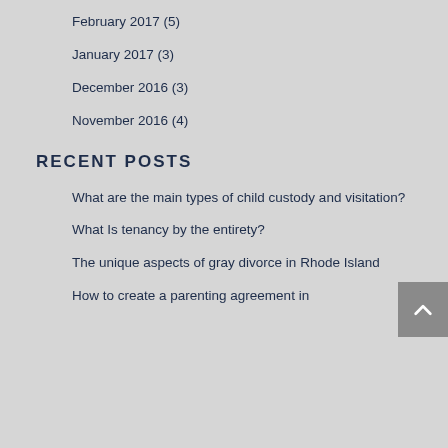February 2017 (5)
January 2017 (3)
December 2016 (3)
November 2016 (4)
RECENT POSTS
What are the main types of child custody and visitation?
What Is tenancy by the entirety?
The unique aspects of gray divorce in Rhode Island
How to create a parenting agreement in